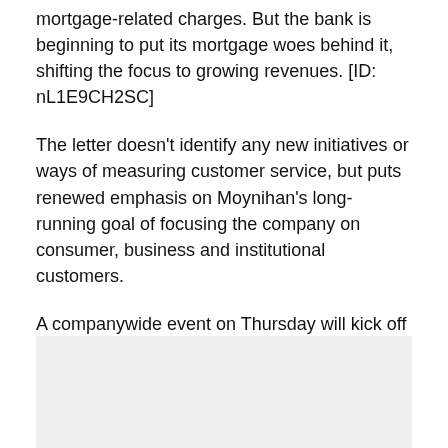mortgage-related charges. But the bank is beginning to put its mortgage woes behind it, shifting the focus to growing revenues. [ID: nL1E9CH2SC]
The letter doesn't identify any new initiatives or ways of measuring customer service, but puts renewed emphasis on Moynihan's long-running goal of focusing the company on consumer, business and institutional customers.
A companywide event on Thursday will kick off the new customer service push, according to the letter, which did not have further details about the event. Employees will also have meetings with top company executives in coming months. A Bank of America spokesman declined to comment on the letter.
[Figure (other): Gray shaded box area at bottom of page, likely an image placeholder or advertisement space.]